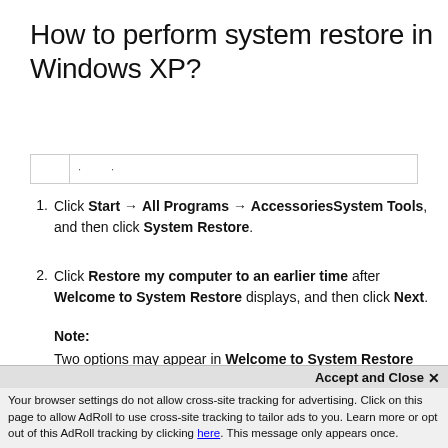How to perform system restore in Windows XP?
|  | · · |
Click Start → All Programs → AccessoriesSystem Tools, and then click System Restore.
Click Restore my computer to an earlier time after Welcome to System Restore displays, and then click Next.
Note:
Two options may appear in Welcome to System Restore when using System Restore ro the first time.
Accept and Close ×
Your browser settings do not allow cross-site tracking for advertising. Click on this page to allow AdRoll to use cross-site tracking to tailor ads to you. Learn more or opt out of this AdRoll tracking by clicking here. This message only appears once.